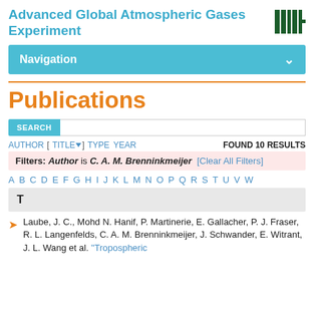Advanced Global Atmospheric Gases Experiment
Navigation
Publications
SEARCH
AUTHOR [ TITLE ] TYPE YEAR   FOUND 10 RESULTS
Filters: Author is C. A. M. Brenninkmeijer [Clear All Filters]
A B C D E F G H I J K L M N O P Q R S T U V W
T
Laube, J. C., Mohd N. Hanif, P. Martinerie, E. Gallacher, P. J. Fraser, R. L. Langenfelds, C. A. M. Brenninkmeijer, J. Schwander, E. Witrant, J. L. Wang et al. "Tropospheric